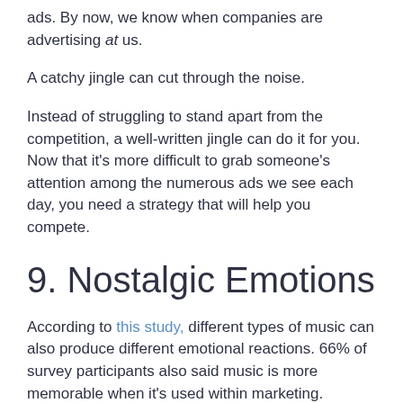ads. By now, we know when companies are advertising at us.
A catchy jingle can cut through the noise.
Instead of struggling to stand apart from the competition, a well-written jingle can do it for you. Now that it's more difficult to grab someone's attention among the numerous ads we see each day, you need a strategy that will help you compete.
9. Nostalgic Emotions
According to this study, different types of music can also produce different emotional reactions. 66% of survey participants also said music is more memorable when it's used within marketing.
A well-written jingle can manipulate our emotions.